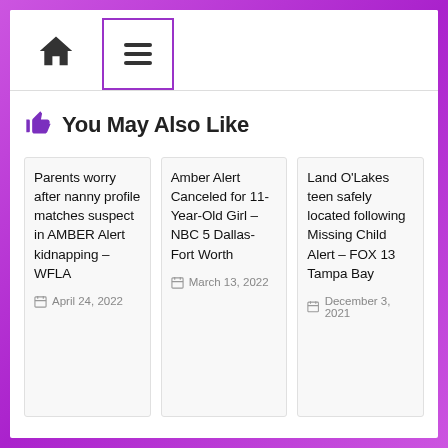Navigation bar with home icon and menu icon
You May Also Like
Parents worry after nanny profile matches suspect in AMBER Alert kidnapping – WFLA
April 24, 2022
Amber Alert Canceled for 11-Year-Old Girl – NBC 5 Dallas-Fort Worth
March 13, 2022
Land O'Lakes teen safely located following Missing Child Alert – FOX 13 Tampa Bay
December 3, 2021